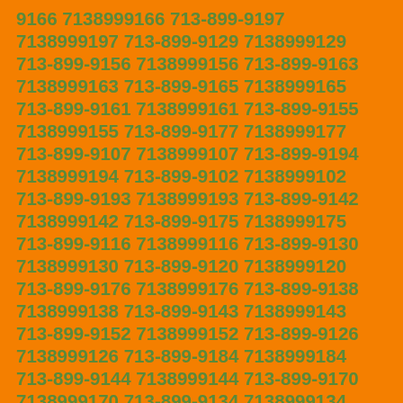9166 7138999166 713-899-9197 7138999197 713-899-9129 7138999129 713-899-9156 7138999156 713-899-9163 7138999163 713-899-9165 7138999165 713-899-9161 7138999161 713-899-9155 7138999155 713-899-9177 7138999177 713-899-9107 7138999107 713-899-9194 7138999194 713-899-9102 7138999102 713-899-9193 7138999193 713-899-9142 7138999142 713-899-9175 7138999175 713-899-9116 7138999116 713-899-9130 7138999130 713-899-9120 7138999120 713-899-9176 7138999176 713-899-9138 7138999138 713-899-9143 7138999143 713-899-9152 7138999152 713-899-9126 7138999126 713-899-9184 7138999184 713-899-9144 7138999144 713-899-9170 7138999170 713-899-9134 7138999134 713-899-9127 7138999127 713-899-9172 7138999172 713-899-9169 7138999169 713-899-9135 7138999135 713-899-9191 7138999191 713-899-9103 7138999103 713-899-9111 7138999111 713-899-9192 7138999192 713-899-9168 7138999168 713-899-9178 7138999178 713-899-9123 7138999123 713-899-9167 7138999167 713-899-9162 7138999162 713-899-9198 7138999198 713-899-9187 7138999187 713-899-9183 7138999183 713-899-9148 7138999148 713-